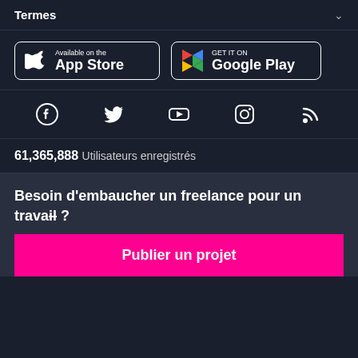Termes
[Figure (logo): App Store badge with Apple logo - Available on the App Store]
[Figure (logo): Google Play badge with Play logo - GET IT ON Google Play]
[Figure (infographic): Social media icons row: Facebook, Twitter, YouTube, Instagram, RSS]
61,365,888 Utilisateurs enregistrés
Besoin d'embaucher un freelance pour un travail ?
Publier un projet